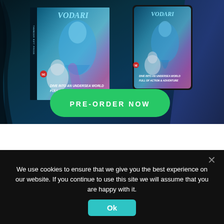[Figure (illustration): An underwater fantasy scene showing a Vodari book and tablet mockup with mermaid/undersea fantasy characters, with a green PRE-ORDER NOW button overlaid at the bottom of the image area.]
We use cookies to ensure that we give you the best experience on our website. If you continue to use this site we will assume that you are happy with it.
Ok